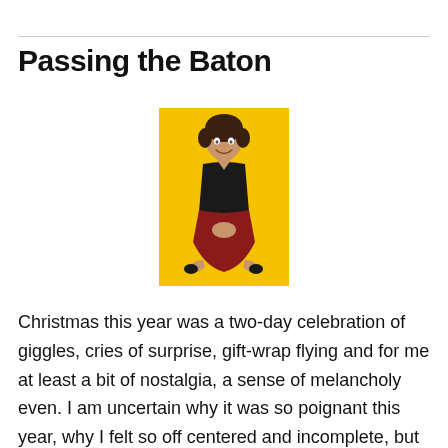Passing the Baton
[Figure (photo): Woman in black top and red skirt crouching, smiling, on a yellow background]
Christmas this year was a two-day celebration of giggles, cries of surprise, gift-wrap flying and for me at least a bit of nostalgia, a sense of melancholy even. I am uncertain why it was so poignant this year, why I felt so off centered and incomplete, but this year was off for me. This year I felt slightly disconnected from those I love, from the